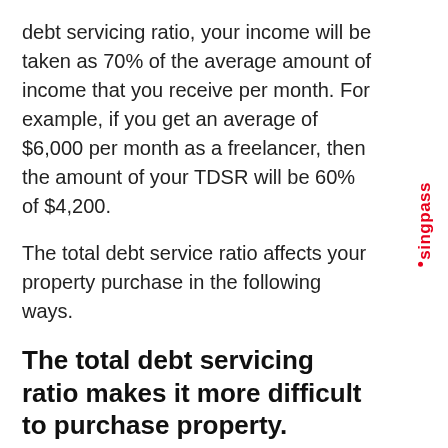debt servicing ratio, your income will be taken as 70% of the average amount of income that you receive per month. For example, if you get an average of $6,000 per month as a freelancer, then the amount of your TDSR will be 60% of $4,200.
The total debt service ratio affects your property purchase in the following ways.
The total debt servicing ratio makes it more difficult to purchase property.
The total debt servicing ratio has made it more difficult to purchase property in Singapore. The main purpose is to prevent Singaporeans from taking on too many mortgages which can eventually become